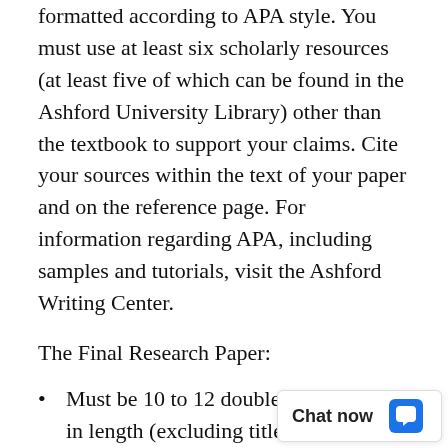formatted according to APA style. You must use at least six scholarly resources (at least five of which can be found in the Ashford University Library) other than the textbook to support your claims. Cite your sources within the text of your paper and on the reference page. For information regarding APA, including samples and tutorials, visit the Ashford Writing Center.
The Final Research Paper:
Must be 10 to 12 double-spaced pages in length (excluding title and reference pages), and formatted according to APA style as outlined in the Ashford Writing Center.
Must include a t...